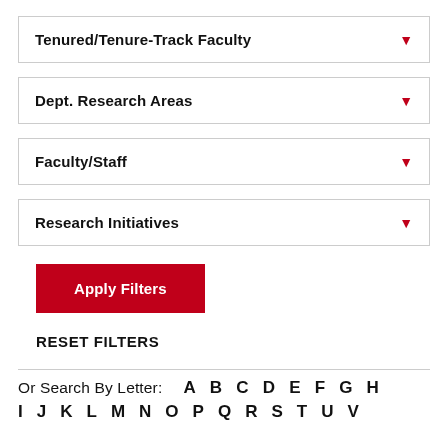Tenured/Tenure-Track Faculty
Dept. Research Areas
Faculty/Staff
Research Initiatives
Apply Filters
RESET FILTERS
Or Search By Letter: A B C D E F G H
I J K L M N O P Q R S T U V